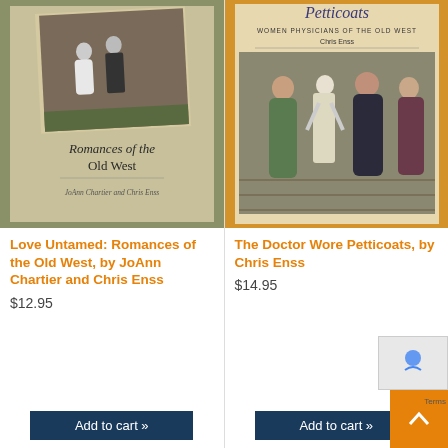[Figure (photo): Book cover of 'Love Untamed: Romances of the Old West' by JoAnn Chartier and Chris Enss. Shows a vintage black-and-white photo of a couple on a tan/olive background with decorative text.]
Love Untamed: Romances of the Old West, by JoAnn Chartier and Chris Enss
$12.95
Add to cart »
[Figure (photo): Book cover of 'The Doctor Wore Petticoats: Women Physicians of the Old West' by Chris Enss. Shows a group of women in Victorian dress with a skeleton, on an orange-tan background.]
The Doctor Wore Petticoats, by Chris Enss
$14.95
Add to cart »